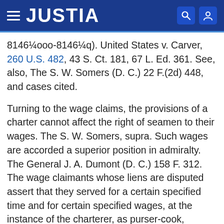JUSTIA
8146¼ooo-8146¼q). United States v. Carver, 260 U.S. 482, 43 S. Ct. 181, 67 L. Ed. 361. See, also, The S. W. Somers (D. C.) 22 F.(2d) 448, and cases cited.
Turning to the wage claims, the provisions of a charter cannot affect the right of seamen to their wages. The S. W. Somers, supra. Such wages are accorded a superior position in admiralty. The General J. A. Dumont (D. C.) 158 F. 312. The wage claimants whose liens are disputed assert that they served for a certain specified time and for certain specified wages, at the instance of the charterer, as purser-cook, fireman, chief engineer, and watchman, respectively. The claims of the purser-cook for a month's wages, and of the fireman for a fraction of a month's wages, are contested on the ground that the master denied having hired these persons. However, their own testimony is the more positive and convincing.